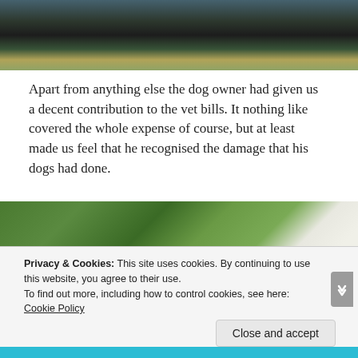[Figure (photo): Person holding a dark-colored dog on a bed with striped and green pillows]
Apart from anything else the dog owner had given us a decent contribution to the vet bills. It nothing like covered the whole expense of course, but at least made us feel that he recognised the damage that his dogs had done.
[Figure (photo): Green floral/leaf patterned fabric or wallpaper with papers and a Galectin Veterinary document]
Privacy & Cookies: This site uses cookies. By continuing to use this website, you agree to their use.
To find out more, including how to control cookies, see here: Cookie Policy
Close and accept